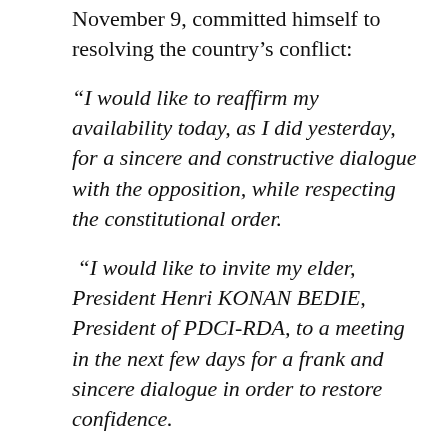November 9, committed himself to resolving the country's conflict:
“I would like to reaffirm my availability today, as I did yesterday, for a sincere and constructive dialogue with the opposition, while respecting the constitutional order.
“I would like to invite my elder, President Henri KONAN BEDIE, President of PDCI-RDA, to a meeting in the next few days for a frank and sincere dialogue in order to restore confidence.
“I ask all our fellow citizens, in a surge of peace of minds and hearts, to work to maintain and strengthen peace throughout our country. We have so much to do together, to build and consolidate our